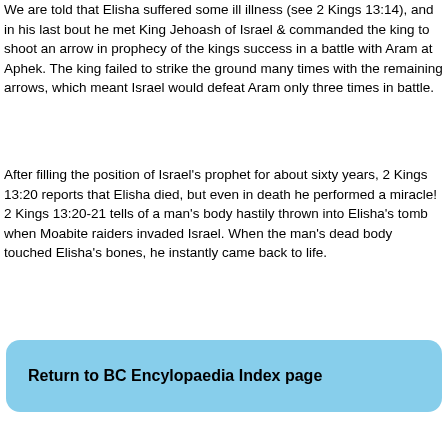We are told that Elisha suffered some ill illness (see 2 Kings 13:14), and in his last bout he met King Jehoash of Israel & commanded the king to shoot an arrow in prophecy of the kings success in a battle with Aram at Aphek. The king failed to strike the ground many times with the remaining arrows, which meant Israel would defeat Aram only three times in battle.
After filling the position of Israel's prophet for about sixty years, 2 Kings 13:20 reports that Elisha died, but even in death he performed a miracle! 2 Kings 13:20-21 tells of a man's body hastily thrown into Elisha's tomb when Moabite raiders invaded Israel. When the man's dead body touched Elisha's bones, he instantly came back to life.
Return to BC Encylopaedia Index page